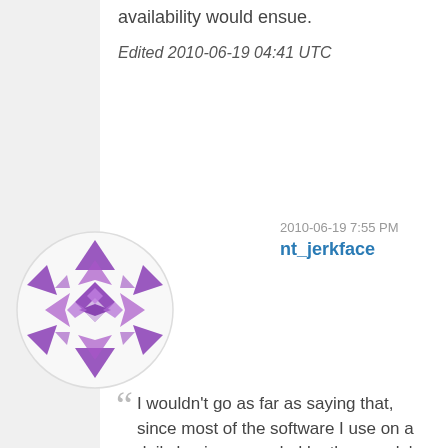availability would ensue.
Edited 2010-06-19 04:41 UTC
[Figure (illustration): Circular avatar with purple geometric/kaleidoscope pattern on white background]
2010-06-19 7:55 PM
nt_jerkface
I wouldn't go as far as saying that, since most of the software I use on a daily basis was coded by the people's army and works fairly well.
Most of it? You must use a lot of GNU utilities. Most of the open source software I